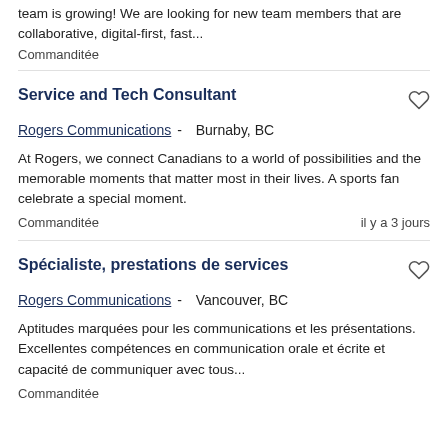team is growing! We are looking for new team members that are collaborative, digital-first, fast...
Commanditée
Service and Tech Consultant
Rogers Communications - Burnaby, BC
At Rogers, we connect Canadians to a world of possibilities and the memorable moments that matter most in their lives. A sports fan celebrate a special moment.
Commanditée
il y a 3 jours
Spécialiste, prestations de services
Rogers Communications - Vancouver, BC
Aptitudes marquées pour les communications et les présentations. Excellentes compétences en communication orale et écrite et capacité de communiquer avec tous...
Commanditée